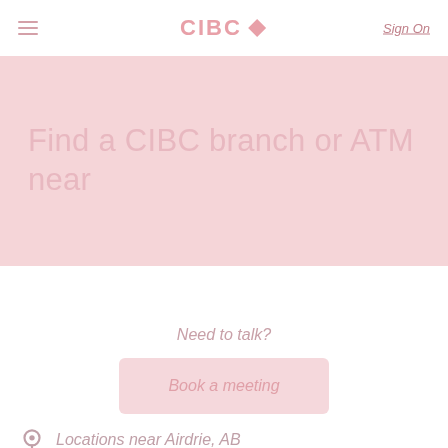CIBC ◆  Sign On
Find a CIBC branch or ATM near
Need to talk?
Book a meeting
Locations near Airdrie, AB